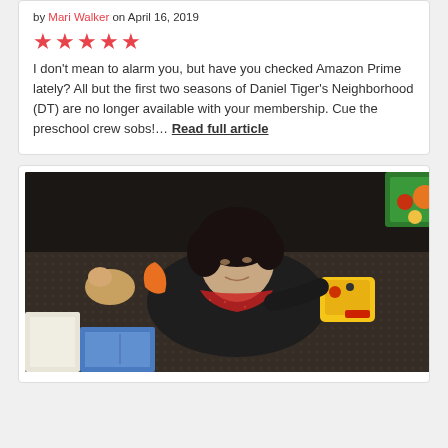by Mari Walker on April 16, 2019
★★★★★
I don't mean to alarm you, but have you checked Amazon Prime lately? All but the first two seasons of Daniel Tiger's Neighborhood (DT) are no longer available with your membership. Cue the preschool crew sobs!… Read full article
[Figure (photo): A woman lying on the floor surrounded by children's toys including books, food toys, and colorful plastic items, looking up at the camera]